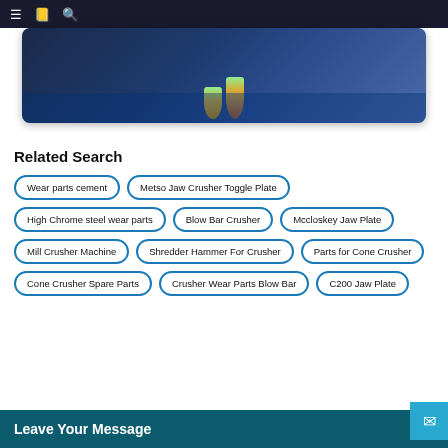Navigation bar with menu, book, and search icons
[Figure (photo): Hero image showing industrial equipment in dark blue lighting with a medal/trophy visible]
Related Search
Wear parts cement
Metso Jaw Crusher Toggle Plate
High Chrome steel wear parts
Blow Bar Crusher
Mccloskey Jaw Plate
Mill Crusher Machine
Shredder Hammer For Crusher
Parts for Cone Crusher
Cone Crusher Spare Parts
Crusher Wear Parts Blow Bar
C200 Jaw Plate
Leave Your Message